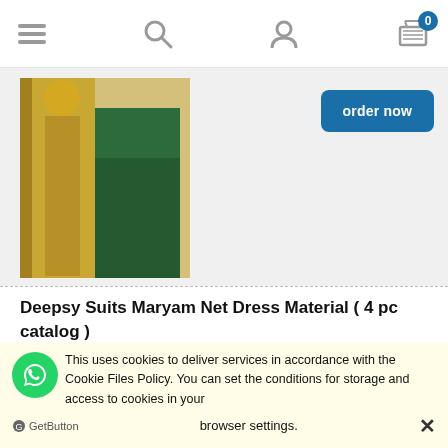Navigation bar with menu, search, user, and cart icons
[Figure (photo): Product photo of yellow and green dress material suit on model]
order now
Deepsy Suits Maryam Net Dress Material ( 4 pc catalog )
[Figure (photo): Product photo of colorful net dress material on model]
₹ 4,996.00 ( 1 pcs = ₹ 1,249.00 ) excl. 5% TAX, excl. shipping costs
order now
This uses cookies to deliver services in accordance with the Cookie Files Policy. You can set the conditions for storage and access to cookies in your browser settings. ✕